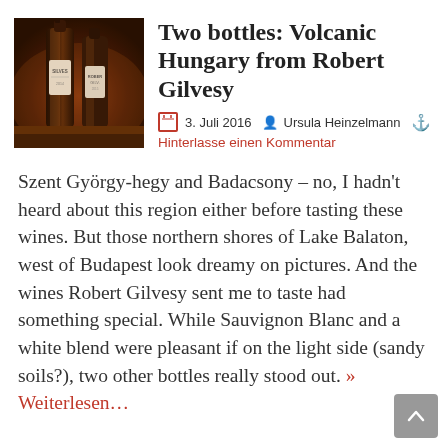[Figure (photo): Photo of wine bottles with dark background and warm amber lighting, showing bottle labels]
Two bottles: Volcanic Hungary from Robert Gilvesy
3. Juli 2016   Ursula Heinzelmann  ⚓
Hinterlasse einen Kommentar
Szent György-hegy and Badacsony – no, I hadn't heard about this region either before tasting these wines. But those northern shores of Lake Balaton, west of Budapest look dreamy on pictures. And the wines Robert Gilvesy sent me to taste had something special. While Sauvignon Blanc and a white blend were pleasant if on the light side (sandy soils?), two other bottles really stood out. » Weiterlesen…